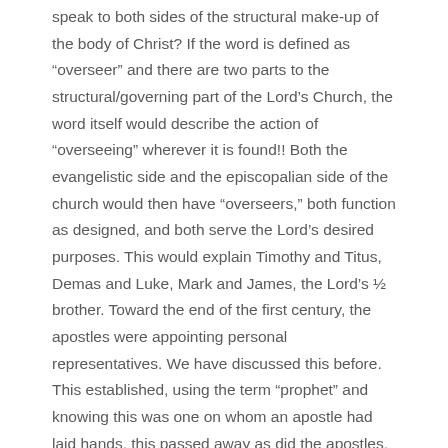speak to both sides of the structural make-up of the body of Christ? If the word is defined as “overseer” and there are two parts to the structural/governing part of the Lord’s Church, the word itself would describe the action of “overseeing” wherever it is found!! Both the evangelistic side and the episcopalian side of the church would then have “overseers,” both function as designed, and both serve the Lord’s desired purposes. This would explain Timothy and Titus, Demas and Luke, Mark and James, the Lord’s ½ brother. Toward the end of the first century, the apostles were appointing personal representatives. We have discussed this before. This established, using the term “prophet” and knowing this was one on whom an apostle had laid hands, this passed away as did the apostles. This would have passed into the pages of